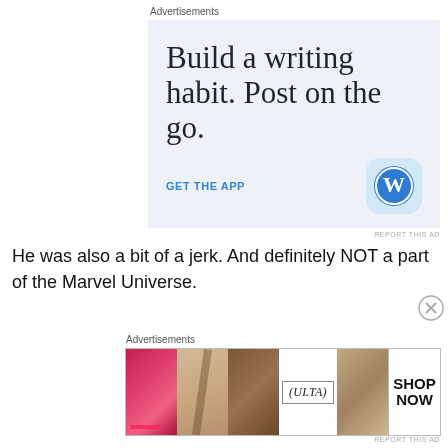Advertisements
[Figure (illustration): WordPress app advertisement: light blue background with large serif text 'Build a writing habit. Post on the go.' with 'GET THE APP' link and WordPress logo icon]
REPORT THIS AD
He was also a bit of a jerk. And definitely NOT a part of the Marvel Universe.
Advertisements
[Figure (illustration): ULTA beauty advertisement banner showing close-up cosmetics photos including lips, makeup brush, eye, ULTA logo, eye, and SHOP NOW text]